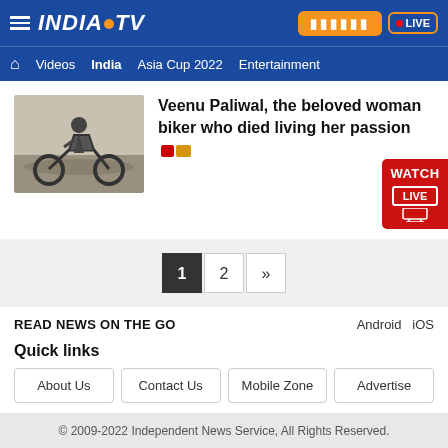INDIA TV — Videos | India | Asia Cup 2022 | Entertainment
Veenu Paliwal, the beloved woman biker who died living her passion
READ NEWS ON THE GO — Android iOS
Quick links
About Us
Contact Us
Mobile Zone
Advertise
© 2009-2022 Independent News Service, All Rights Reserved.